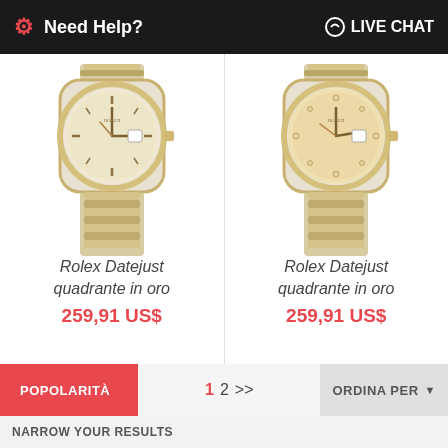Need Help?  LIVE CHAT
[Figure (photo): Rolex Datejust watch with two-tone gold and steel jubilee bracelet, champagne dial with index hour markers]
Rolex Datejust quadrante in oro
259,91 US$
[Figure (photo): Rolex Datejust watch with two-tone gold and steel jubilee bracelet, champagne dial with diamond hour markers]
Rolex Datejust quadrante in oro
259,91 US$
POPOLARITÀ
1  2  >>
ORDINA PER
NARROW YOUR RESULTS